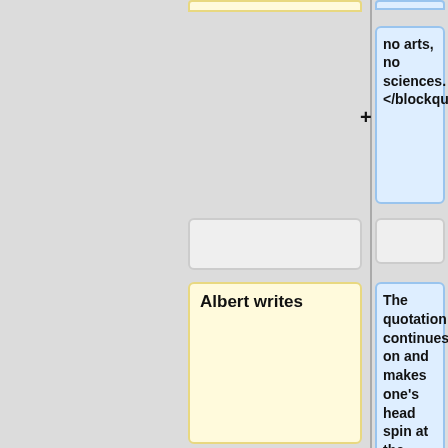[Figure (flowchart): A flowchart/diff view showing two columns of content boxes. Left column has yellow boxes (Albert writes, The quotation continues...), right column has blue boxes (no arts no sciences </blockquote>, The quotation continues on and makes one's head spin at the attitudes and prejudices of the famous philosophers., Paul Alper). Gray placeholder boxes appear between active boxes. Plus and minus connectors link boxes between and within columns.]